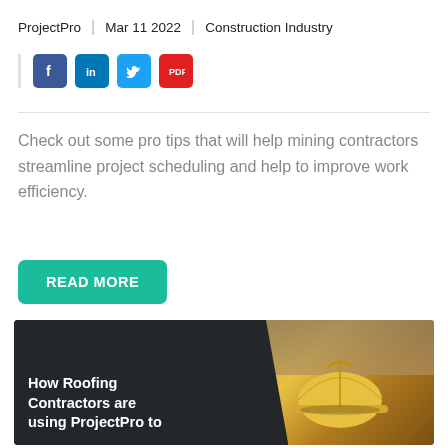ProjectPro | Mar 11 2022 | Construction Industry
[Figure (other): Social sharing icons: Facebook (blue), LinkedIn (blue), Twitter (blue), PDF (red)]
Check out some pro tips that will help mining contractors streamline project scheduling and help to improve work efficiency.
READ MORE
[Figure (photo): Card image with dark left panel showing text 'How Roofing Contractors are using ProjectPro to' and right panel showing a construction worker with yellow hard hat and construction site in background]